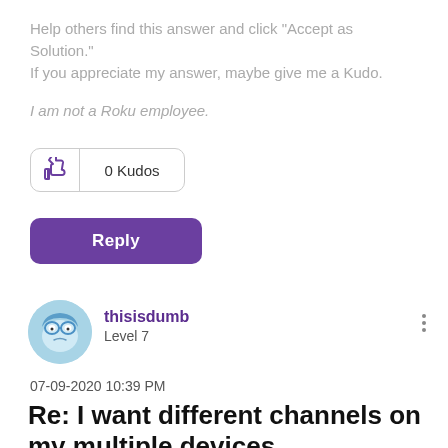Help others find this answer and click "Accept as Solution."
If you appreciate my answer, maybe give me a Kudo.
I am not a Roku employee.
[Figure (other): Kudos button with thumbs up icon and '0 Kudos' text]
[Figure (other): Reply button (purple rounded rectangle)]
[Figure (other): User avatar circle with cartoon face illustration]
thisisdumb
Level 7
07-09-2020 10:39 PM
Re: I want different channels on my multiple devices